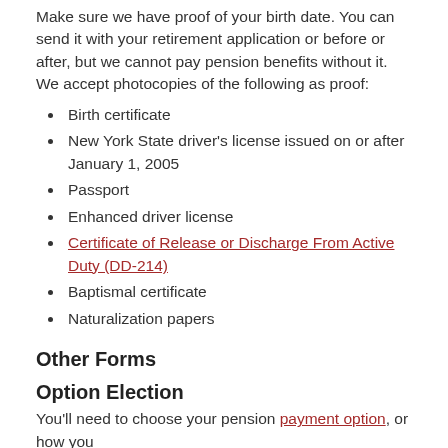Make sure we have proof of your birth date. You can send it with your retirement application or before or after, but we cannot pay pension benefits without it. We accept photocopies of the following as proof:
Birth certificate
New York State driver's license issued on or after January 1, 2005
Passport
Enhanced driver license
Certificate of Release or Discharge From Active Duty (DD-214)
Baptismal certificate
Naturalization papers
Other Forms
Option Election
You'll need to choose your pension payment option, or how you